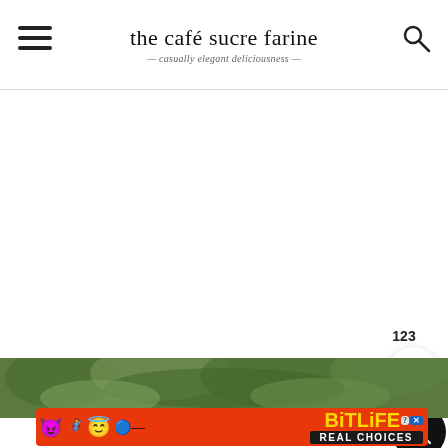the café sucre farine — casually elegant deliciousness
[Figure (screenshot): White blank content area below header]
123
[Figure (photo): Green foliage/hedges photo strip]
[Figure (infographic): BitLife Real Choices advertisement banner with emoji characters on red background]